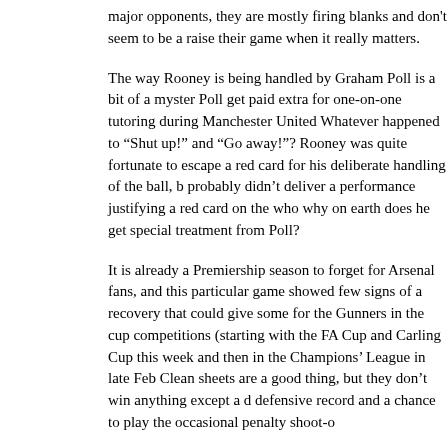major opponents, they are mostly firing blanks and don't seem to be able to raise their game when it really matters.
The way Rooney is being handled by Graham Poll is a bit of a mystery. Did Poll get paid extra for one-on-one tutoring during Manchester United matches? Whatever happened to "Shut up!" and "Go away!"? Rooney was quite fortunate to escape a red card for his deliberate handling of the ball, but Poll probably didn't deliver a performance justifying a red card on the whole, so why on earth does he get special treatment from Poll?
It is already a Premiership season to forget for Arsenal fans, and this particular game showed few signs of a recovery that could give some hope for the Gunners in the cup competitions (starting with the FA Cup and Carling Cup this week and then in the Champions' League in late February). Clean sheets are a good thing, but they don't win anything except a decent defensive record and a chance to play the occasional penalty shoot-out.
Will Wenger make key purchases during the transfer window? The early signs are not encouraging. Apart from the silly rumours about Vieira coming back and his own rather undignified comments about his departure, there is nothing to report on.
This entry was posted by Pierre Igot on Wednesday, January 4th, 2006 at 10:34 am and filed under Football. You can follow any responses to this entry through the RSS 2. You can leave a response, or trackback from your own site.